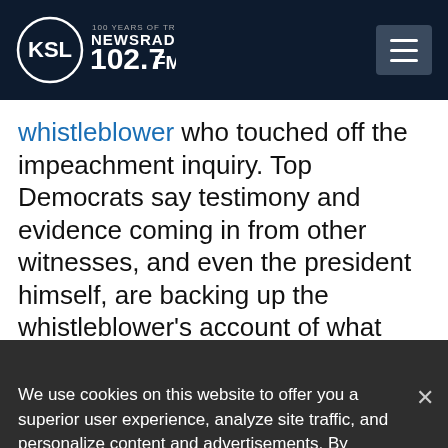KSL NewsRadio 102.7FM
whistleblower who touched off the impeachment inquiry. Top Democrats say testimony and evidence coming in from other witnesses, and even the president himself, are backing up the whistleblower's account of what transpired during Trump's
We use cookies on this website to offer you a superior user experience, analyze site traffic, and personalize content and advertisements. By continuing to use our site, you consent to our use of cookies. Please visit our Privacy Policy for more information.
Accept Cookies